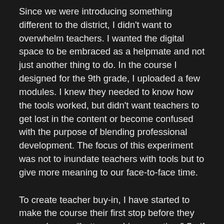Since we were introducing something different to the district, I didn't want to overwhelm teachers. I wanted the digital space to be embraced as a helpmate and not just another thing to do. In the course I designed for the 9th grade, I uploaded a few modules. I knew they needed to know how the tools worked, but didn't want teachers to get lost in the content or become confused with the purpose of blending professional development. The focus of this experiment was not to inundate teachers with tools but to give more meaning to our face-to-face time.
To create teacher buy-in, I have started to make the course their first stop before they can ask me a “button pushing question.” So if a teacher asks me how to do add a rubric to a short essay question, my response is “Did you go through the unit in the Schoology course?” Granted, not every teacher has responded well to the move. I continue to spend some time with one teacher, in particular, who prefers that I walk him through how a tool works. However, more teachers see the